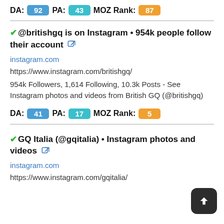DA: 92  PA: 43  MOZ Rank: 87
@britishgq is on Instagram • 954k people follow their account
instagram.com
https://www.instagram.com/britishgq/
954k Followers, 1,614 Following, 10.3k Posts - See Instagram photos and videos from British GQ (@britishgq)
DA: 41  PA: 17  MOZ Rank: 5
GQ Italia (@gqitalia) • Instagram photos and videos
instagram.com
https://www.instagram.com/gqitalia/